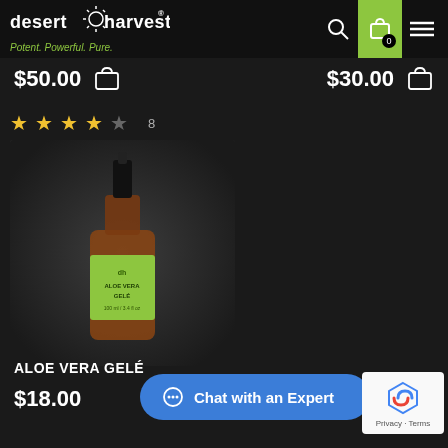desert harvest — Potent. Powerful. Pure.
$50.00
$30.00
[Figure (photo): Product photo of Desert Harvest Aloe Vera Gelé bottle with black pump cap and yellow-green label on dark background, with 4-star rating (8 reviews) shown above]
ALOE VERA GELÉ
$18.00
Chat with an Expert
[Figure (logo): reCAPTCHA logo with Privacy and Terms links]